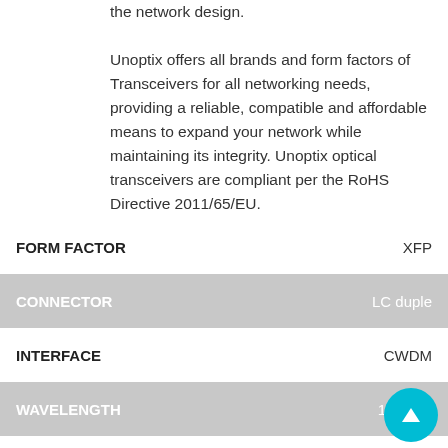the network design. Unoptix offers all brands and form factors of Transceivers for all networking needs, providing a reliable, compatible and affordable means to expand your network while maintaining its integrity. Unoptix optical transceivers are compliant per the RoHS Directive 2011/65/EU.
|  |  |
| --- | --- |
| FORM FACTOR | XFP |
| CONNECTOR | LC duple |
| INTERFACE | CWDM |
| WAVELENGTH | 1610nm |
| DISTANCE | 80km |
| TEMPERATURE RANGE | 0 to 70 |
| PROTOCOLS | MSA Con |